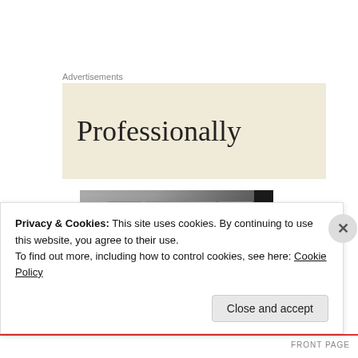Advertisements
[Figure (illustration): Advertisement banner with the word 'Professionally' in serif font on a beige/cream background]
[Figure (illustration): BECK: Mongolian Chop Squad manga cover image showing large block letters BECK, subtitle 'Mongolian Chop Squad', a character's face at the bottom, and a TOKYOPOP logo bar on the right side]
Privacy & Cookies: This site uses cookies. By continuing to use this website, you agree to their use.
To find out more, including how to control cookies, see here: Cookie Policy
Close and accept